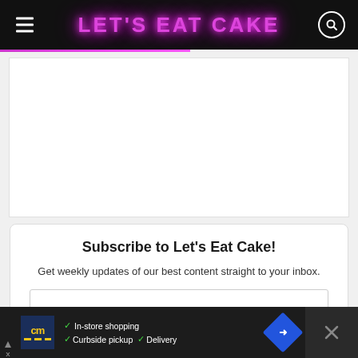LET'S EAT CAKE
[Figure (screenshot): White advertisement placeholder area in gray background]
Subscribe to Let's Eat Cake!
Get weekly updates of our best content straight to your inbox.
[Figure (screenshot): Bottom advertisement banner: cm logo, In-store shopping, Curbside pickup, Delivery, blue navigation icon, close button]